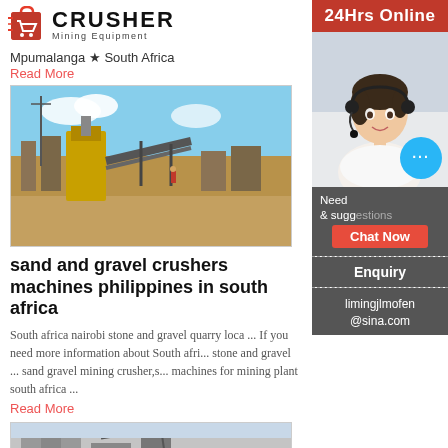[Figure (logo): Crusher Mining Equipment logo with red shopping bag icon and bold CRUSHER text]
Mpumalanga ★ South Africa
Read More
[Figure (photo): Outdoor mining/crushing plant with machinery, conveyor belts, and equipment in a dry landscape under blue sky]
sand and gravel crushers machines philippines in south africa
South africa nairobi stone and gravel quarry loca... ... If you need more information about South afri... stone and gravel ... sand gravel mining crusher,s... machines for mining plant south africa ...
Read More
[Figure (photo): Crusher machine equipment, industrial machinery close-up]
[Figure (infographic): 24Hrs Online sidebar with customer service woman wearing headset, chat bubble, Need & suggestions, Chat Now button, Enquiry, limingjlmofen@sina.com]